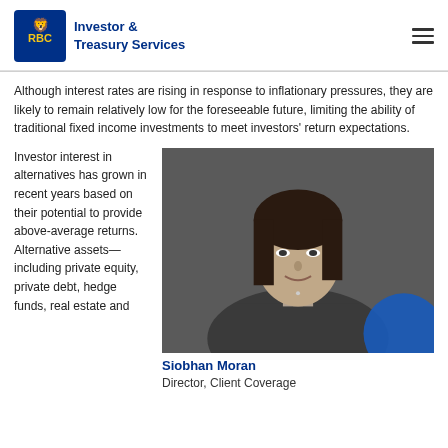Investor & Treasury Services
Although interest rates are rising in response to inflationary pressures, they are likely to remain relatively low for the foreseeable future, limiting the ability of traditional fixed income investments to meet investors' return expectations.
Investor interest in alternatives has grown in recent years based on their potential to provide above-average returns. Alternative assets—including private equity, private debt, hedge funds, real estate and
[Figure (photo): Black and white professional headshot of Siobhan Moran, a woman with dark shoulder-length hair, smiling, wearing a blazer.]
Siobhan Moran
Director, Client Coverage